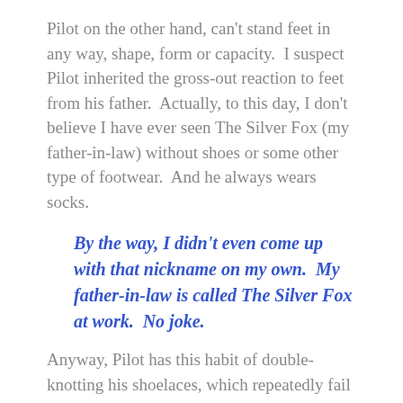Pilot on the other hand, can't stand feet in any way, shape, form or capacity.  I suspect Pilot inherited the gross-out reaction to feet from his father.  Actually, to this day, I don't believe I have ever seen The Silver Fox (my father-in-law) without shoes or some other type of footwear.  And he always wears socks.
By the way, I didn't even come up with that nickname on my own.  My father-in-law is called The Silver Fox at work.  No joke.
Anyway, Pilot has this habit of double-knotting his shoelaces, which repeatedly fail at keeping themselves knotted.
So needless to say, having Pilot take a few moments to tend to his shoes was a regular occurrence with